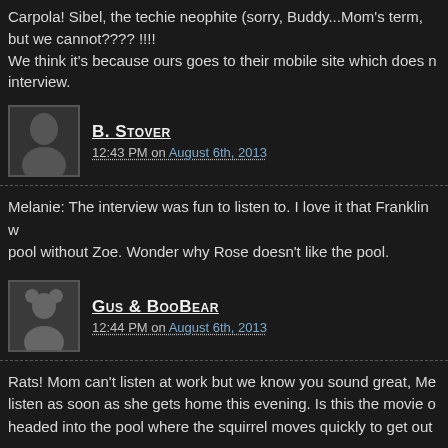Carpola! Sibel, the techie neophite (sorry, Buddy...Mom's term, but we cannot???? !!!!
We think it's because ours goes to their mobile site which does n... interview.
B. Stover
12:43 PM on August 6th, 2013
Melanie: The interview was fun to listen to. I love it that Franklin w... pool without Zoe. Wonder why Rose doesn't like the pool.
Gus & BooBear
12:44 PM on August 6th, 2013
Rats! Mom can't listen at work but we know you sound great, Me... listen as soon as she gets home this evening. Is this the movie o... headed into the pool where the squirrel moves quickly to get out...
Happy belated b-day, Dima! Loved “both” pics of you.
Rose, you were missed while you were lurking. Glad you are feel...